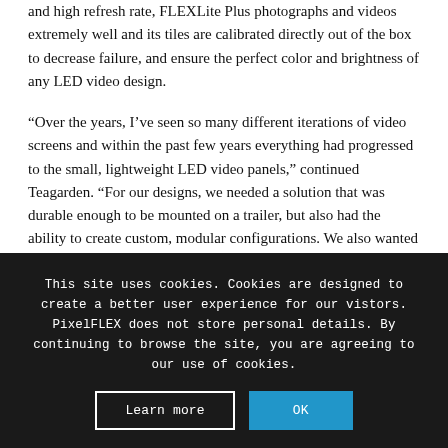and high refresh rate, FLEXLite Plus photographs and videos extremely well and its tiles are calibrated directly out of the box to decrease failure, and ensure the perfect color and brightness of any LED video design.
“Over the years, I’ve seen so many different iterations of video screens and within the past few years everything had progressed to the small, lightweight LED video panels,” continued Teagarden. “For our designs, we needed a solution that was durable enough to be mounted on a trailer, but also had the ability to create custom, modular configurations. We also wanted a product that was a higher resolution than what we have dealt with in the past, and it was great to be able to look through the PixelFLEX catalog of products to get down to the correct .9 mm pixel pitch we needed for our design.”
This site uses cookies. Cookies are designed to create a better user experience for our vistors. PixelFLEX does not store personal details. By continuing to browse the site, you are agreeing to our use of cookies.